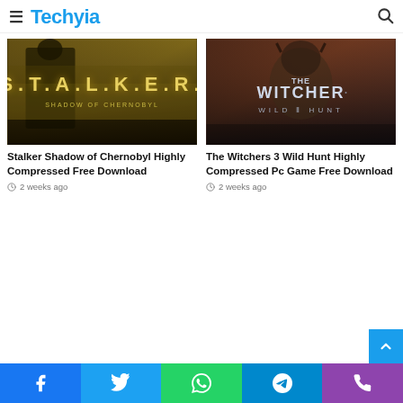Techyia
[Figure (screenshot): STALKER Shadow of Chernobyl game cover art - dark military figure with S.T.A.L.K.E.R. text]
Stalker Shadow of Chernobyl Highly Compressed Free Download
2 weeks ago
[Figure (screenshot): The Witcher 3 Wild Hunt game cover art]
The Witchers 3 Wild Hunt Highly Compressed Pc Game Free Download
2 weeks ago
Facebook Twitter WhatsApp Telegram Phone